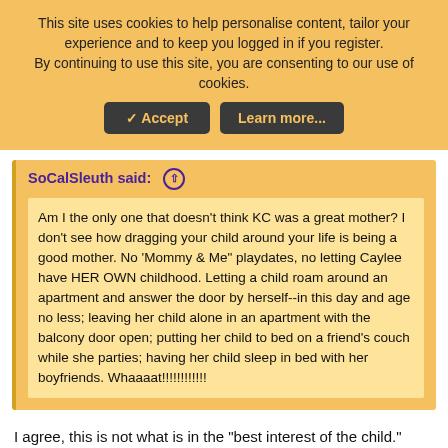This site uses cookies to help personalise content, tailor your experience and to keep you logged in if you register.
By continuing to use this site, you are consenting to our use of cookies.
✓ Accept | Learn more...
SoCalSleuth said: ↑
Am I the only one that doesn't think KC was a great mother? I don't see how dragging your child around your life is being a good mother. No 'Mommy & Me" playdates, no letting Caylee have HER OWN childhood. Letting a child roam around an apartment and answer the door by herself--in this day and age no less; leaving her child alone in an apartment with the balcony door open; putting her child to bed on a friend's couch while she parties; having her child sleep in bed with her boyfriends. Whaaaat!!!!!!!!!!!!
I agree, this is not what is in the "best interest of the child."